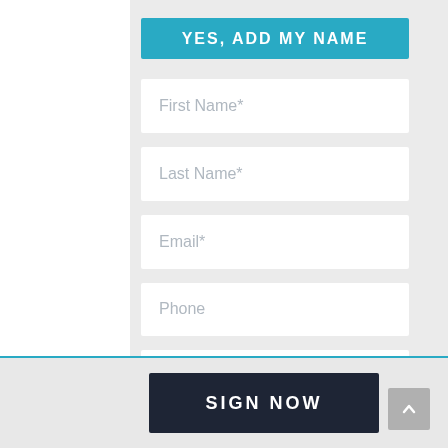YES, ADD MY NAME
First Name*
Last Name*
Email*
Phone
ZIP / Postal Code*
SIGN NOW